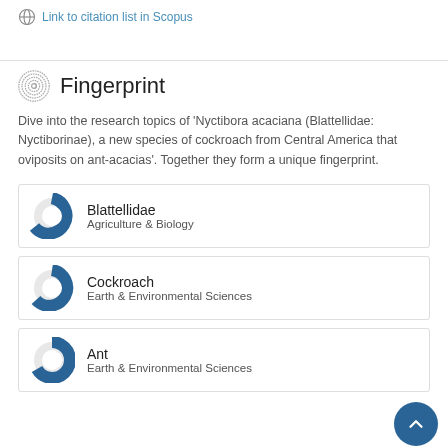Link to citation list in Scopus
Fingerprint
Dive into the research topics of 'Nyctibora acaciana (Blattellidae: Nyctiborinae), a new species of cockroach from Central America that oviposits on ant-acacias'. Together they form a unique fingerprint.
Blattellidae
Agriculture & Biology
Cockroach
Earth & Environmental Sciences
Ant
Earth & Environmental Sciences